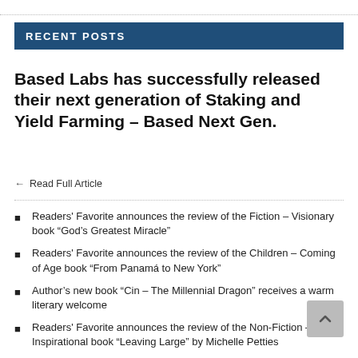RECENT POSTS
Based Labs has successfully released their next generation of Staking and Yield Farming – Based Next Gen.
Read Full Article
Readers' Favorite announces the review of the Fiction – Visionary book “God’s Greatest Miracle”
Readers' Favorite announces the review of the Children – Coming of Age book “From Panamá to New York”
Author's new book “Cin – The Millennial Dragon” receives a warm literary welcome
Readers' Favorite announces the review of the Non-Fiction – Inspirational book “Leaving Large” by Michelle Petties
Readers' Favorite announces the review of the Children – Animals book “The Wish Box” by Susan Marie Chapman
Readers' Favorite announces the review of the Christian –